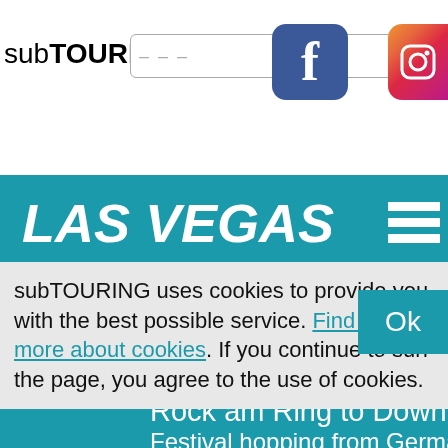subTOURING
[Figure (logo): Facebook logo icon - blue rounded square with white 'f']
[Figure (logo): Instagram logo icon - gradient rounded square (partial, cropped at right edge)]
LAS VEGAS
subTOURING uses cookies to provide you with the best possible service. Find out more about cookies. If you continue to surf the page, you agree to the use of cookies.
Rock am Ring to Downlo…
Festival hopping from Germany…
More ...